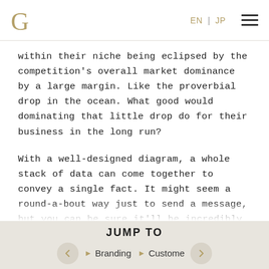G   EN | JP
within their niche being eclipsed by the competition's overall market dominance by a large margin. Like the proverbial drop in the ocean. What good would dominating that little drop do for their business in the long run?

With a well-designed diagram, a whole stack of data can come together to convey a single fact. It might seem a round-a-bout way just to send a message, but you can be sure it'll be incredibly effective if your campaign or project revolves around that one message.
JUMP TO
◄ Branding ► Custome